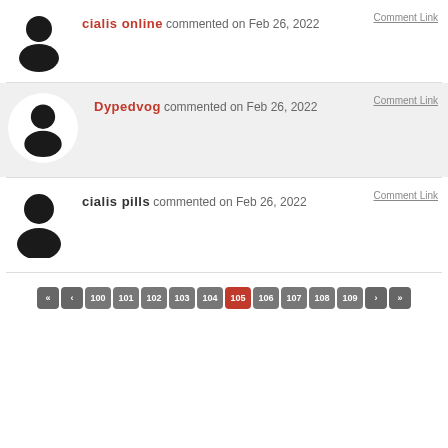cialis online  commented on Feb 26, 2022
Comment Link
Dypedvog  commented on Feb 26, 2022
Comment Link
cialis pills  commented on Feb 26, 2022
Comment Link
« ‹ 100 101 102 103 104 105 106 107 108 109 › »